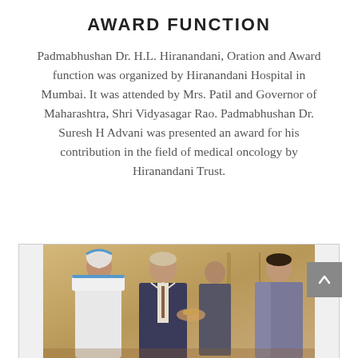AWARD FUNCTION
Padmabhushan Dr. H.L. Hiranandani, Oration and Award function was organized by Hiranandani Hospital in Mumbai. It was attended by Mrs. Patil and Governor of Maharashtra, Shri Vidyasagar Rao. Padmabhushan Dr. Suresh H Advani was presented an award for his contribution in the field of medical oncology by Hiranandani Trust.
[Figure (photo): Photograph showing people at an award function. Several individuals are visible including a woman in a blue-trimmed dupatta, a man in a suit with a tie, another man in the background, and a woman in a purple/grey saree on the right, appearing to be in the act of presenting or receiving an award.]